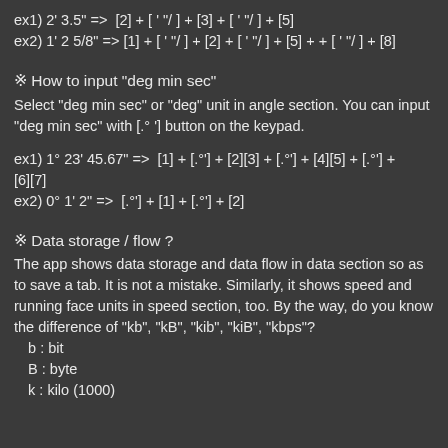ex1) 2' 3.5" =>  [2] + [ ' "/ ] + [3] + [ ' "/ ] + [5]
ex2) 1' 2 5/8" => [1] + [ ' "/ ] + [2] + [ ' "/ ] + [5] + + [ ' "/ ] + [8]
※ How to input "deg min sec"
Select "deg min sec" or "deg" unit in angle section. You can input "deg min sec" with [.° '] button on the keypad.
ex1) 1° 23' 45.67" =>  [1] + [.°'] + [2][3] + [.°'] + [4][5] + [.°'] + [6][7]
ex2) 0° 1' 2" =>  [.°'] + [1] + [.°'] + [2]
※ Data storage / flow ?
The app shows data storage and data flow in data section so as to save a tab. It is not a mistake. Similarly, it shows speed and running face units in speed section, too. By the way, do you know the difference of "kb", "kB", "kib", "kiB", "kbps"?
b : bit
B : byte
k : kilo (1000)